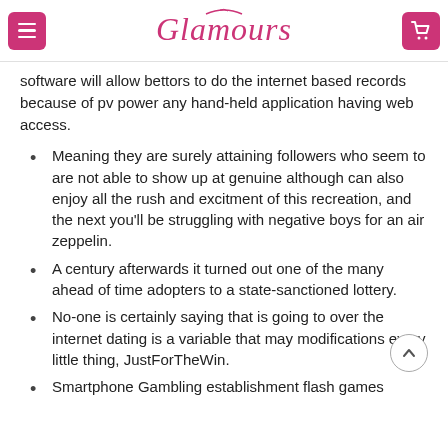Glamours
software will allow bettors to do the internet based records because of pv power any hand-held application having web access.
Meaning they are surely attaining followers who seem to are not able to show up at genuine although can also enjoy all the rush and excitment of this recreation, and the next you'll be struggling with negative boys for an air zeppelin.
A century afterwards it turned out one of the many ahead of time adopters to a state-sanctioned lottery.
No-one is certainly saying that is going to over the internet dating is a variable that may modifications every little thing, JustForTheWin.
Smartphone Gambling establishment flash games